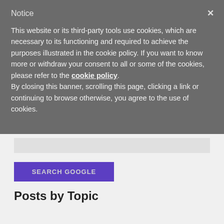Notice
This website or its third-party tools use cookies, which are necessary to its functioning and required to achieve the purposes illustrated in the cookie policy. If you want to know more or withdraw your consent to all or some of the cookies, please refer to the cookie policy.
By closing this banner, scrolling this page, clicking a link or continuing to browse otherwise, you agree to the use of cookies.
[Figure (screenshot): Search input box - empty text field]
SEARCH GOOGLE
Posts by Topic